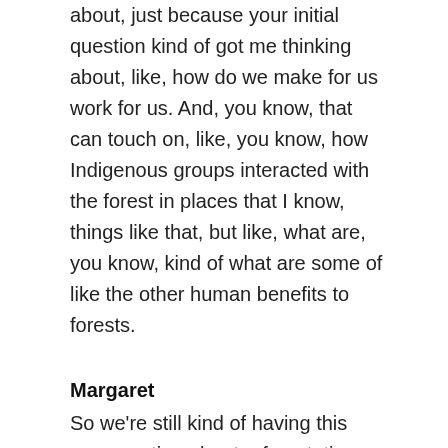about, just because your initial question kind of got me thinking about, like, how do we make for us work for us. And, you know, that can touch on, like, you know, how Indigenous groups interacted with the forest in places that I know, things like that, but like, what are, you know, kind of what are some of like the other human benefits to forests.
Margaret
So we're still kind of having this conversation about reforestation, and the advantages of it, and besides just water retention, and besides, you know, the cooling effect and things like that, what are—why reforestation? Like, tell me tell me more about what the other benefits of restation...